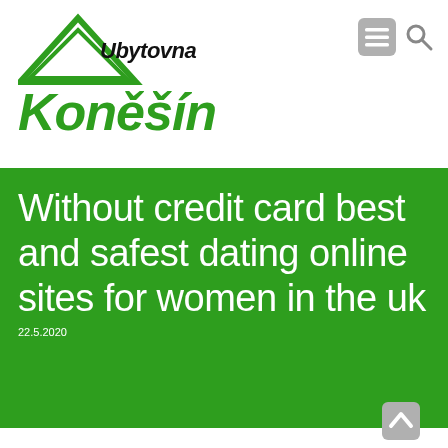[Figure (logo): Ubytovna Konesín logo with green triangle/house shape and green bold text 'Konesín' below]
[Figure (other): Navigation icons: grey menu (hamburger) icon and grey search (magnifying glass) icon in top right]
Without credit card best and safest dating online sites for women in the uk
22.5.2020
[Figure (other): Grey back-to-top arrow icon in bottom right corner]